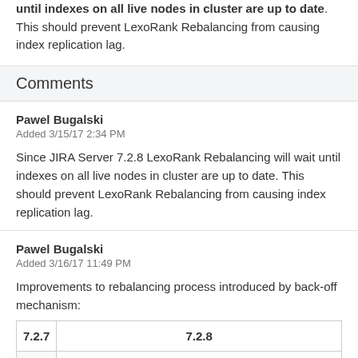until indexes on all live nodes in cluster are up to date. This should prevent LexoRank Rebalancing from causing index replication lag.
Comments
Pawel Bugalski
Added 3/15/17 2:34 PM
Since JIRA Server 7.2.8 LexoRank Rebalancing will wait until indexes on all live nodes in cluster are up to date. This should prevent LexoRank Rebalancing from causing index replication lag.
Pawel Bugalski
Added 3/16/17 11:49 PM
Improvements to rebalancing process introduced by back-off mechanism:
| 7.2.7 | 7.2.8 |
| --- | --- |
|  | Rebalance process continuously monitors the progress of reindexing on all nodes. In case the... |